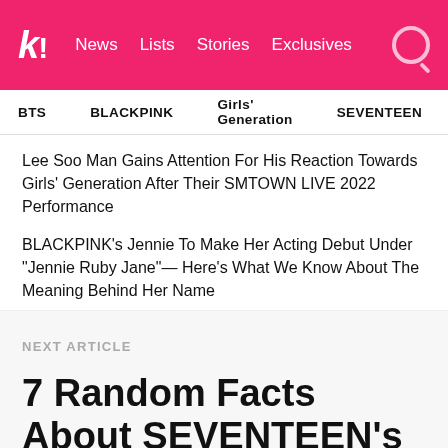k! News Lists Stories Exclusives
BTS  BLACKPINK  Girls' Generation  SEVENTEEN  TWICE
Lee Soo Man Gains Attention For His Reaction Towards Girls' Generation After Their SMTOWN LIVE 2022 Performance
BLACKPINK's Jennie To Make Her Acting Debut Under "Jennie Ruby Jane"— Here's What We Know About The Meaning Behind Her Name
NEXT ARTICLE
7 Random Facts About SEVENTEEN's Genius Producer Woozi That Everyone Should Know